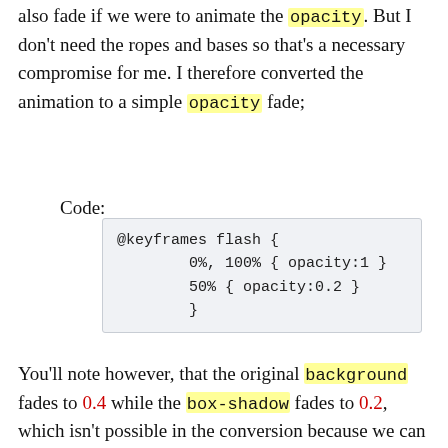also fade if we were to animate the opacity. But I don't need the ropes and bases so that's a necessary compromise for me. I therefore converted the animation to a simple opacity fade;
Code:
@keyframes flash {
        0%, 100% { opacity:1 }
        50% { opacity:0.2 }
        }
You'll note however, that the original background fades to 0.4 while the box-shadow fades to 0.2, which isn't possible in the conversion because we can only animate the overall opacity of the entire element. How did I overcome this? With a dirty trick; I